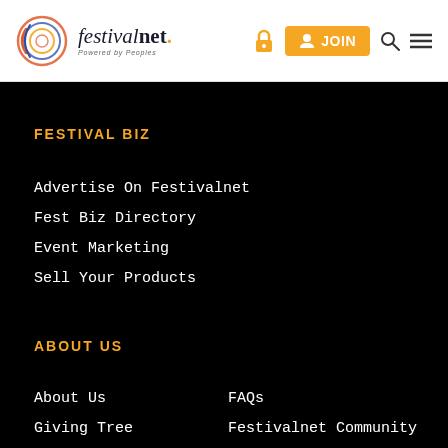festivalnet. | JOIN
FESTIVAL BIZ
Advertise On Festivalnet
Fest Biz Directory
Event Marketing
Sell Your Products
ABOUT US
About Us
FAQs
Giving Tree
Festivalnet Community